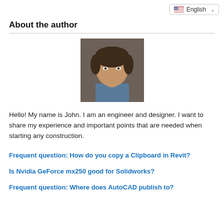English
About the author
[Figure (photo): Headshot photo of a young man with dark hair, smiling slightly, wearing a blue shirt]
Hello! My name is John. I am an engineer and designer. I want to share my experience and important points that are needed when starting any construction.
Frequent question: How do you copy a Clipboard in Revit?
Is Nvidia GeForce mx250 good for Solidworks?
Frequent question: Where does AutoCAD publish to?